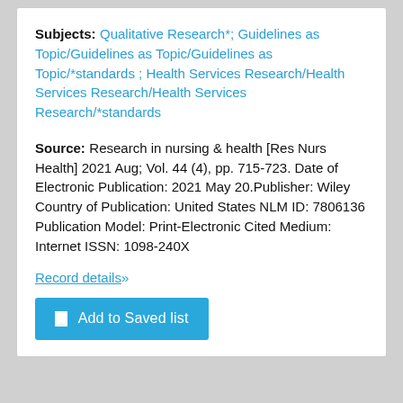Subjects: Qualitative Research*; Guidelines as Topic/Guidelines as Topic/Guidelines as Topic/*standards ; Health Services Research/Health Services Research/Health Services Research/*standards
Source: Research in nursing & health [Res Nurs Health] 2021 Aug; Vol. 44 (4), pp. 715-723. Date of Electronic Publication: 2021 May 20.Publisher: Wiley Country of Publication: United States NLM ID: 7806136 Publication Model: Print-Electronic Cited Medium: Internet ISSN: 1098-240X
Record details»
Add to Saved list